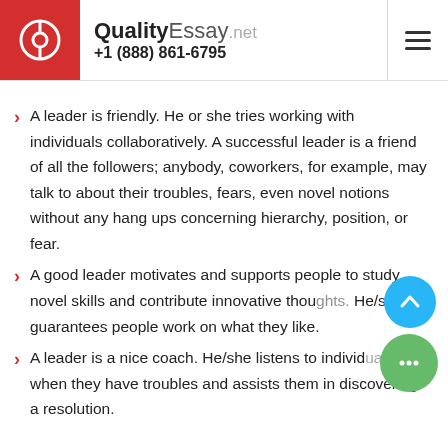QualityEssay.net +1 (888) 861-6795
A leader is friendly. He or she tries working with individuals collaboratively. A successful leader is a friend of all the followers; anybody, coworkers, for example, may talk to about their troubles, fears, even novel notions without any hang ups concerning hierarchy, position, or fear.
A good leader motivates and supports people to study novel skills and contribute innovative thoughts. He/she guarantees people work on what they like.
A leader is a nice coach. He/she listens to individuals when they have troubles and assists them in discovering a resolution.